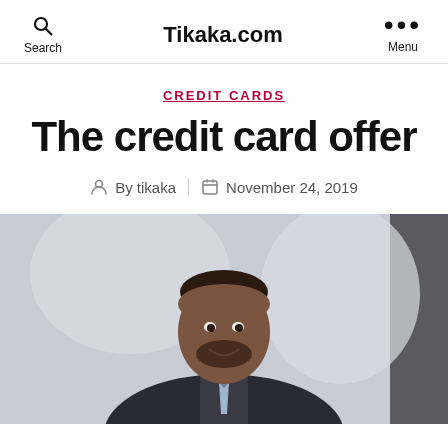Search  Tikaka.com  Menu
CREDIT CARDS
The credit card offer
By tikaka  November 24, 2019
[Figure (photo): Smiling businessman in a suit and tie, professional portrait in an office setting]